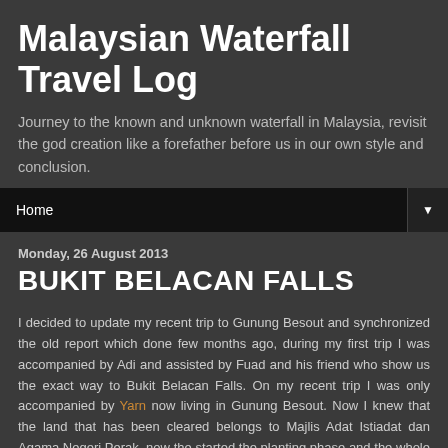Malaysian Waterfall Travel Log
Journey to the known and unknown waterfall in Malaysia, revisit the god creation like a forefather before us in our own style and conclusion.
Home ▼
Monday, 26 August 2013
BUKIT BELACAN FALLS
I decided to update my recent trip to Gunung Besout and synchronized the old report which done few months ago, during my first trip I was accompanied by Adi and assisted by Fuad and his friend who show us the exact way to Bukit Belacan Falls. On my recent trip I was only accompanied by Yarn now living in Gunung Besout. Now I knew that the land that has been cleared belongs to Majlis Adat Istiadat dan Agama Negeri Perak, now the started the planting phase and the whole river from the waterfall covered with mud and residue contrary to our first